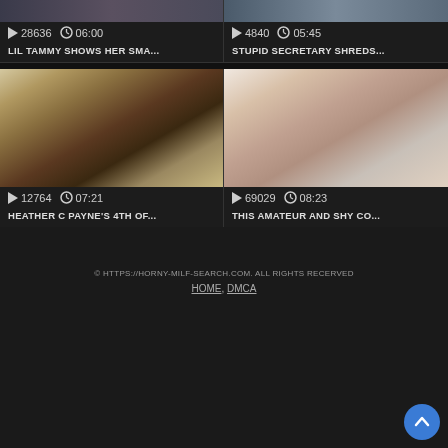[Figure (screenshot): Video thumbnail top-left partially visible]
28636  06:00
LIL TAMMY SHOWS HER SMA...
[Figure (screenshot): Video thumbnail top-right partially visible]
4840  05:45
STUPID SECRETARY SHREDS...
[Figure (screenshot): Video thumbnail bottom-left showing woman in white outfit]
12764  07:21
HEATHER C PAYNE'S 4TH OF...
[Figure (screenshot): Video thumbnail bottom-right showing couple]
69029  08:23
THIS AMATEUR AND SHY CO...
© HTTPS://HORNY-MILF-SEARCH.COM. ALL RIGHTS RECERVED
HOME, DMCA